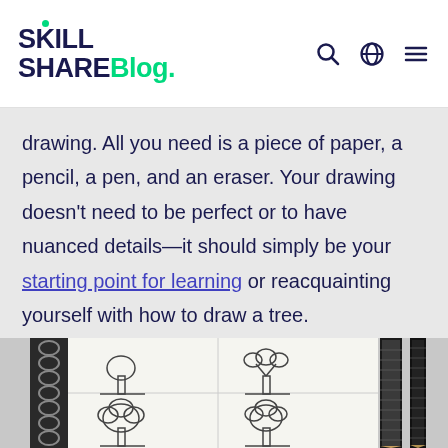Skill Share Blog.
drawing. All you need is a piece of paper, a pencil, a pen, and an eraser. Your drawing doesn't need to be perfect or to have nuanced details—it should simply be your starting point for learning or reacquainting yourself with how to draw a tree.
[Figure (illustration): Sketchbook open showing step-by-step tree drawing sketches in pencil, with a pencil visible on the right side. Shows progression of tree shapes from simple to detailed.]